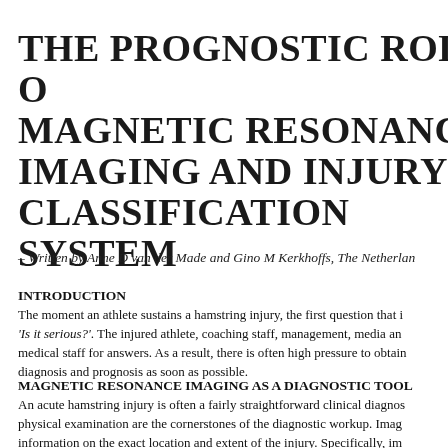THE PROGNOSTIC ROLE OF MAGNETIC RESONANCE IMAGING AND INJURY CLASSIFICATION SYSTEMS
– Written by Anne D van der Made and Gino M Kerkhoffs, The Netherlands
INTRODUCTION
The moment an athlete sustains a hamstring injury, the first question that is asked is 'Is it serious?'. The injured athlete, coaching staff, management, media and medical staff for answers. As a result, there is often high pressure to obtain a diagnosis and prognosis as soon as possible.
MAGNETIC RESONANCE IMAGING AS A DIAGNOSTIC TOOL
An acute hamstring injury is often a fairly straightforward clinical diagnosis; physical examination are the cornerstones of the diagnostic workup. Imaging provides information on the exact location and extent of the injury. Specifically, im detecting or ruling out more severe (e.g. full-thickness free tendon¹) inju